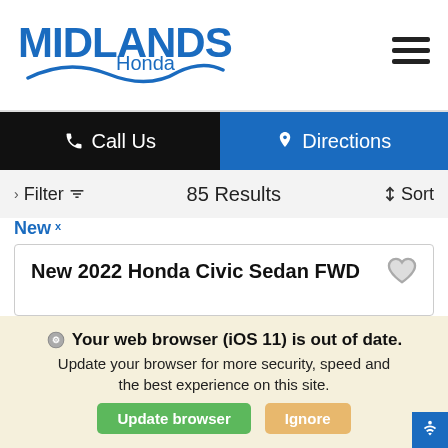[Figure (logo): Midlands Honda dealership logo with blue text and wave graphic]
Call Us
Directions
Filter  85 Results  Sort
New x
New 2022 Honda Civic Sedan FWD
Your web browser (iOS 11) is out of date. Update your browser for more security, speed and the best experience on this site.
Update browser
Ignore